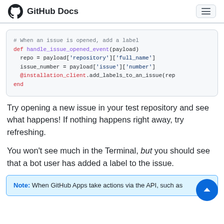GitHub Docs
[Figure (screenshot): Code block showing Ruby code for handling an issue opened event with def handle_issue_opened_event(payload), setting repo and issue_number from payload, and calling @installation_client.add_labels_to_an_issue]
Try opening a new issue in your test repository and see what happens! If nothing happens right away, try refreshing.
You won't see much in the Terminal, but you should see that a bot user has added a label to the issue.
Note: When GitHub Apps take actions via the API, such as adding labels, GitHub does not trigger the action again...